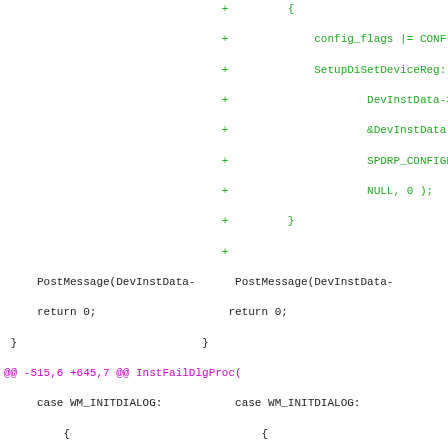[Figure (screenshot): A unified diff view showing code changes in a C/C++ file, with two columns (old and new), green lines for additions prefixed with '+', and magenta hunk headers prefixed with '@@'.]